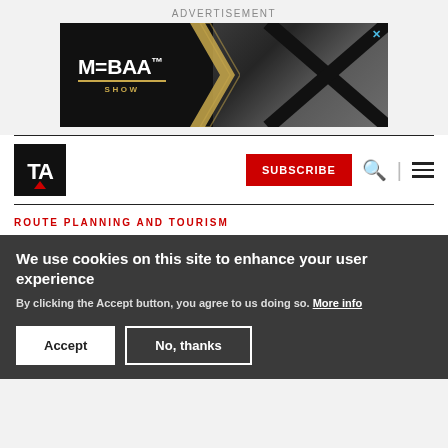ADVERTISEMENT
[Figure (illustration): MEBAA SHOW advertisement banner — black background with gold MEBAA logo and show name, with luxury aviation imagery on the right side. Close button (X) in top right corner.]
[Figure (logo): TA logo — white letters T and A on black square background with red triangle accent at bottom]
SUBSCRIBE
ROUTE PLANNING AND TOURISM
We use cookies on this site to enhance your user experience
By clicking the Accept button, you agree to us doing so. More info
Accept
No, thanks